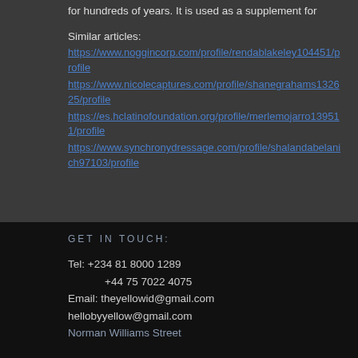for hundreds of years. It is used as a supplement for
Similar articles:
https://www.noggincorp.com/profile/rendablakeley104451/profile
https://www.nicolecaptures.com/profile/shanegrahams132625/profile
https://es.hclatinofoundation.org/profile/merlemojarro139511/profile
https://www.synchronydressage.com/profile/shalandabelanich97103/profile
GET IN TOUCH:
Tel: +234 81 8000 1289
+44 75 7022 4075
Email: theyellowid@gmail.com
hellobyyellow@gmail.com
Norman Williams Street